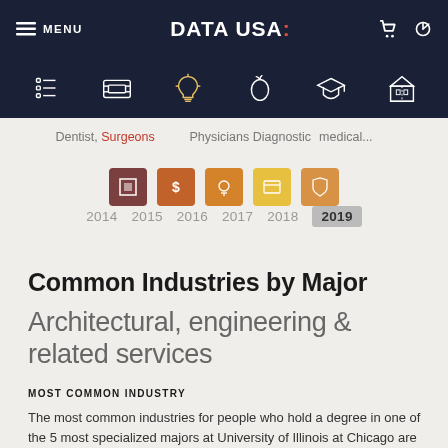MENU  DATA USA:
[Figure (screenshot): Navigation icon row with list, currency, lightbulb, apple, graduation cap, and building icons on dark navy background]
Dentist, Surgeons  Physicians Diagnostic medical...
[Figure (infographic): Row of 5 colored square icons in shades of brown, orange, and gold]
2014  2015  2016  2017  2018  2019
Common Industries by Major
Architectural, engineering & related services
MOST COMMON INDUSTRY
The most common industries for people who hold a degree in one of the 5 most specialized majors at University of Illinois at Chicago are Architectural, engineering & related